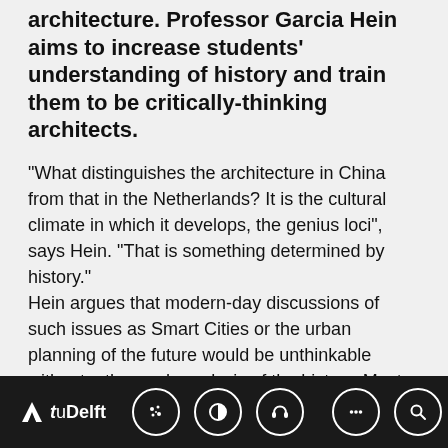architecture. Professor Garcia Hein aims to increase students' understanding of history and train them to be critically-thinking architects.
“What distinguishes the architecture in China from that in the Netherlands? It is the cultural climate in which it develops, the genius loci”, says Hein. “That is something determined by history.” Hein argues that modern-day discussions of such issues as Smart Cities or the urban planning of the future would be unthinkable without a thorough analysis of the history. Most of our cities have already been built and it is not possible to go back and start again. This is why the role of the Chair in History of Architecture and Urban Planning is primarily about exploring and charting long-term developments in the built environment. “I attempt to
TU Delft